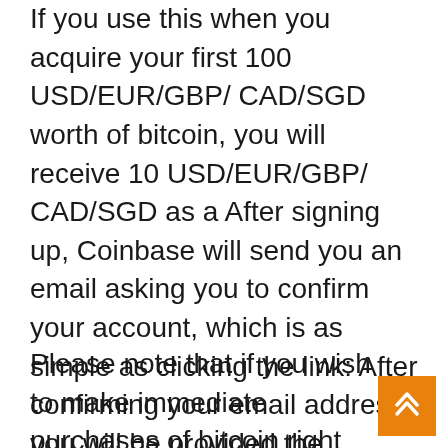If you use this when you acquire your first 100 USD/EUR/GBP/ CAD/SGD worth of bitcoin, you will receive 10 USD/EUR/GBP/ CAD/SGD as a After signing up, Coinbase will send you an email asking you to confirm your account, which is as simple as clicking the link: After confirming your email address, you will be provided the opportunity to provide your contact number, which enables you to include two-factor authentication to your account, We highly recommend you do this, as anyone who has ever been hacked can tell you that it is a possibly dreadful incident.
Please note that if you wish to make immediate purchases of bitcoin right this 2nd, you will want to connect the debit card